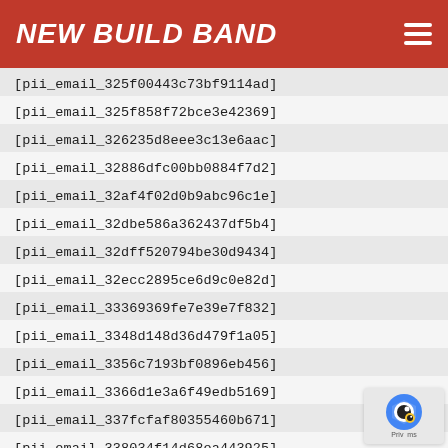NEW BUILD BAND
[pii_email_325f00443c73bf9114ad]
[pii_email_325f858f72bce3e42369]
[pii_email_326235d8eee3c13e6aac]
[pii_email_32886dfc00bb0884f7d2]
[pii_email_32af4f02d0b9abc96c1e]
[pii_email_32dbe586a362437df5b4]
[pii_email_32dff520794be30d9434]
[pii_email_32ecc2895ce6d9c0e82d]
[pii_email_33369369fe7e39e7f832]
[pii_email_3348d148d36d479f1a05]
[pii_email_3356c7193bf0896eb456]
[pii_email_3366d1e3a6f49edb5169]
[pii_email_337fcfaf80355460b671]
[pii_email_338034f14d68ea443925]